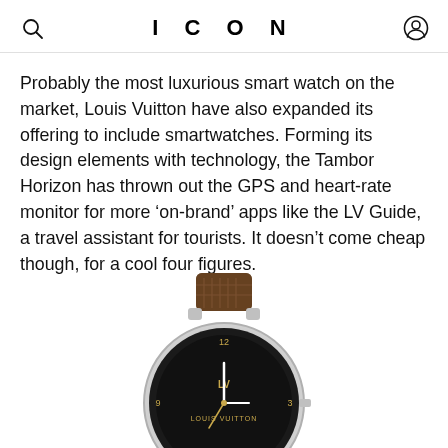ICON
Probably the most luxurious smart watch on the market, Louis Vuitton have also expanded its offering to include smartwatches. Forming its design elements with technology, the Tambor Horizon has thrown out the GPS and heart-rate monitor for more ‘on-brand’ apps like the LV Guide, a travel assistant for tourists. It doesn’t come cheap though, for a cool four figures.
[Figure (photo): A Louis Vuitton Tambor Horizon smartwatch with a dark dial and brown monogram canvas strap, photographed from above on a white background.]